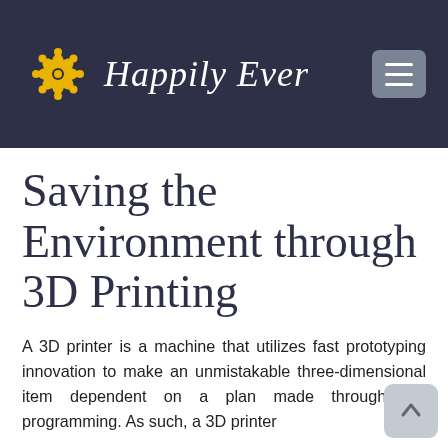Happily Ever
Saving the Environment through 3D Printing
A 3D printer is a machine that utilizes fast prototyping innovation to make an unmistakable three-dimensional item dependent on a plan made through PC programming. As such, a 3D printer